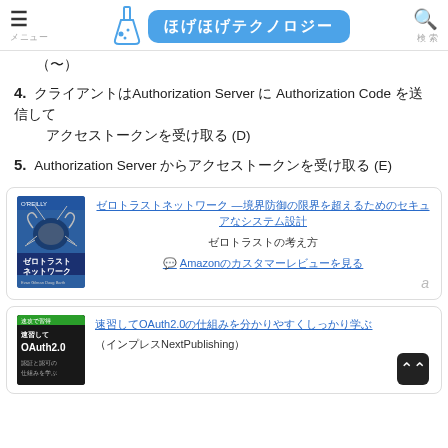ほげほげテクノロジー
（〜）
4. クライアントはAuthorizationServerにAuthorization Codeを送信してアクセストークンを受け取る (D)
5. Authorization Serverからアクセストークンを受け取る (E)
[Figure (illustration): Book card for ゼロトラストネットワーク with Amazon link]
[Figure (illustration): Book card for OAuth2.0 book with NextPublishing link]